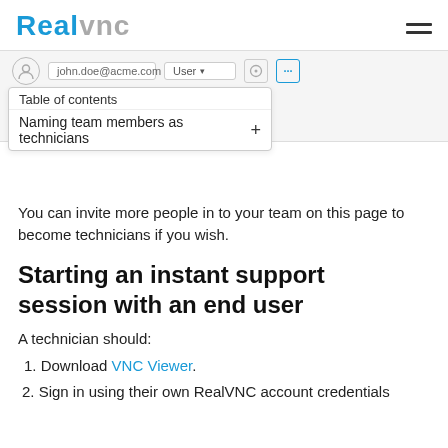RealVNC
[Figure (screenshot): A UI row showing a user avatar, email john.doe@acme.com, a User role dropdown, a settings icon, and an action button]
Table of contents
Naming team members as technicians
You can invite more people in to your team on this page to become technicians if you wish.
Starting an instant support session with an end user
A technician should:
1. Download VNC Viewer.
2. Sign in using their own RealVNC account credentials